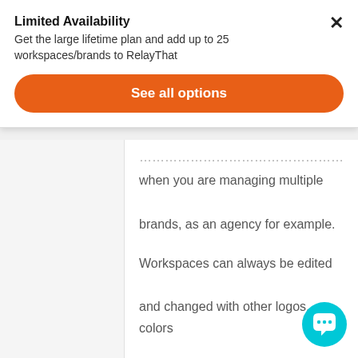Limited Availability
Get the large lifetime plan and add up to 25 workspaces/brands to RelayThat
[Figure (screenshot): Orange rounded button labeled 'See all options']
when you are managing multiple brands, as an agency for example.
Workspaces can always be edited and changed with other logos, colors and texts.
Hope that helps 🙂
Reply
[Figure (illustration): Cyan/teal circular chat bubble icon in the bottom right corner]